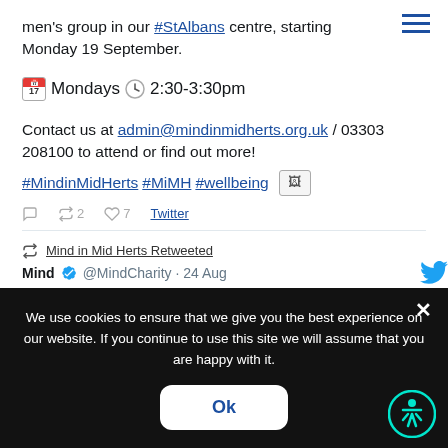men's group in our #StAlbans centre, starting Monday 19 September.
Mondays 🗓 2:30-3:30pm
Contact us at admin@mindinmidherts.org.uk / 03303 208100 to attend or find out more! #MindinMidHerts #MiMH #wellbeing
Twitter actions: reply, retweet 2, like 7, Twitter
Mind in Mid Herts Retweeted
Mind @MindCharity · 24 Aug
We use cookies to ensure that we give you the best experience on our website. If you continue to use this site we will assume that you are happy with it.